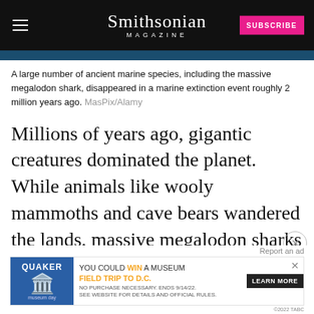Smithsonian MAGAZINE
A large number of ancient marine species, including the massive megalodon shark, disappeared in a marine extinction event roughly 2 million years ago. MasPix/Alamy
Millions of years ago, gigantic creatures dominated the planet. While animals like wooly mammoths and cave bears wandered the lands, massive megalodon sharks and sea sloths took to the seas.
During
11,70
animals perished in a mass extinction event. But
[Figure (screenshot): Quaker Museum Day advertisement banner: YOU COULD WIN A MUSEUM FIELD TRIP TO D.C. with LEARN MORE button]